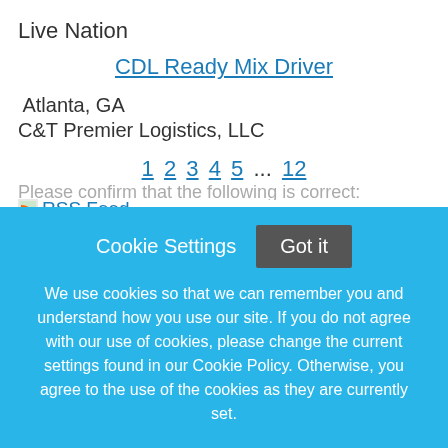Live Nation
CDL Ready Mix Driver
Atlanta, GA
C&T Premier Logistics, LLC
1 2 3 4 5 ... 12
[Figure (other): RSS Feed icon link]
Help is on the way!
We're sorry you are having trouble applying for this job.
Cookie Settings   Got it
We use cookies so that we can remember you and understand how you use our site. If you do not agree with our use of cookies, please change the current settings found in our Cookie Policy. Otherwise, you agree to the use of the cookies as they are currently set.